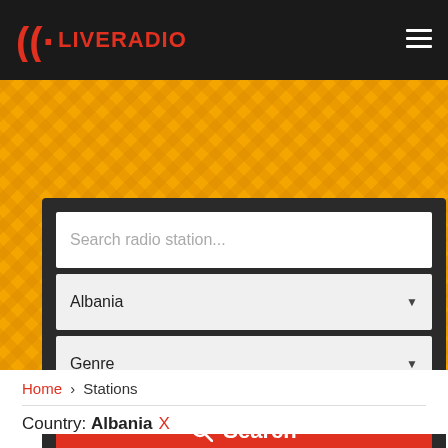LIVERADIO
[Figure (screenshot): Search panel with text input 'Search radio station...', country dropdown 'Albania', genre dropdown 'Genre', and red Search button]
Home › Stations
Country: Albania X